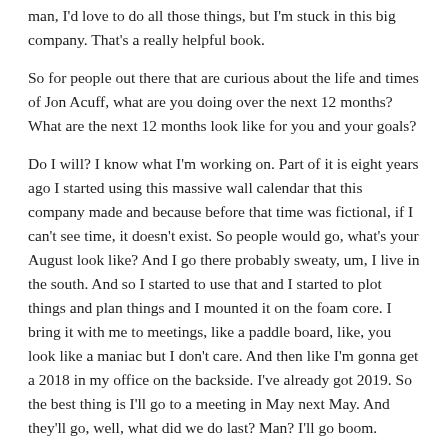man, I'd love to do all those things, but I'm stuck in this big company. That's a really helpful book.
So for people out there that are curious about the life and times of Jon Acuff, what are you doing over the next 12 months? What are the next 12 months look like for you and your goals?
Do I will? I know what I'm working on. Part of it is eight years ago I started using this massive wall calendar that this company made and because before that time was fictional, if I can't see time, it doesn't exist. So people would go, what's your August look like? And I go there probably sweaty, um, I live in the south. And so I started to use that and I started to plot things and plan things and I mounted it on the foam core. I bring it with me to meetings, like a paddle board, like, you look like a maniac but I don't care. And then like I'm gonna get a 2018 in my office on the backside. I've already got 2019. So the best thing is I'll go to a meeting in May next May. And they'll go, well, what did we do last? Man? I'll go boom.
And I'll flip it around and be like, this is what we did. I have it right